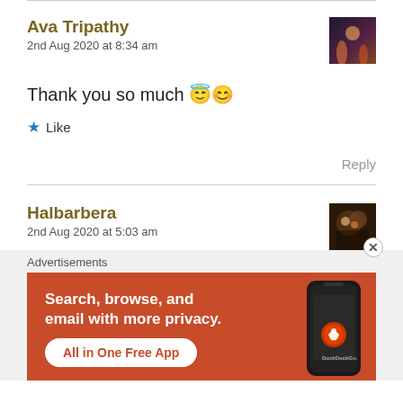Ava Tripathy
2nd Aug 2020 at 8:34 am
Thank you so much 😇😊
★ Like
Reply
Halbarbera
2nd Aug 2020 at 5:03 am
Advertisements
[Figure (screenshot): DuckDuckGo advertisement banner: orange background with text 'Search, browse, and email with more privacy. All in One Free App' and a phone image with DuckDuckGo logo]